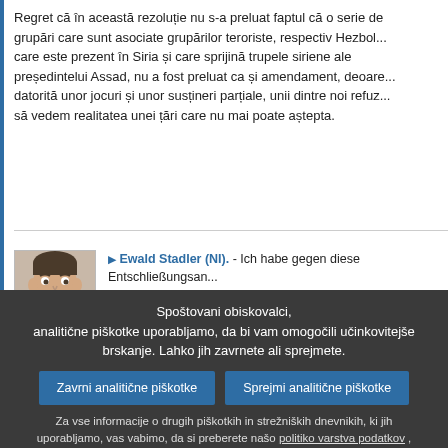Regret că în această rezoluție nu s-a preluat faptul că o serie de grupări care sunt asociate grupărilor teroriste, respectiv Hezboll... care este prezent în Siria și care sprijină trupele siriene ale președintelui Assad, nu a fost preluat ca și amendament, deoare... datorită unor jocuri și unor susțineri parțiale, unii dintre noi refuz... să vedem realitatea unei țări care nu mai poate aștepta.
Ewald Stadler (NI). - Ich habe gegen diese Entschließungsan... gestimmt, weil sie komplett einseitig sind. Sie verkennen vollkom... die Tatsache, dass es in Syrien eine große Zahl von zumeist sa... arabische Dialekte sprechenden Söldnern gibt, die dort grauenh... Massaker verüben. Syrien war jahrzehntelang ein stabiler Partn... den Westen, aber auch für den Nachbarn. Die Instabilität, die je... Syrien entsteht, ist gerade für den Nachbarn, gerade für Israel e...
Spoštovani obiskovalci,
analitične piškotke uporabljamo, da bi vam omogočili učinkovitejše brskanje. Lahko jih zavrnete ali sprejmete.
Zavrni analitične piškotke
Sprejmi analitične piškotke
Za vse informacije o drugih piškotkih in strežniških dnevnikih, ki jih uporabljamo, vas vabimo, da si preberete našo politiko varstva podatkov , našo politiko piškotkov in naš seznam piškotkov.